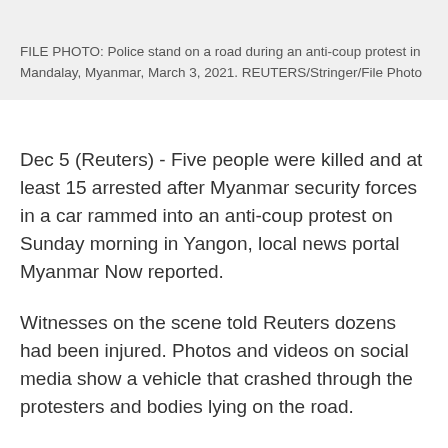FILE PHOTO: Police stand on a road during an anti-coup protest in Mandalay, Myanmar, March 3, 2021. REUTERS/Stringer/File Photo
Dec 5 (Reuters) - Five people were killed and at least 15 arrested after Myanmar security forces in a car rammed into an anti-coup protest on Sunday morning in Yangon, local news portal Myanmar Now reported.
Witnesses on the scene told Reuters dozens had been injured. Photos and videos on social media show a vehicle that crashed through the protesters and bodies lying on the road.
Another protest was held in Yangon in the afternoon despite the morning violence.